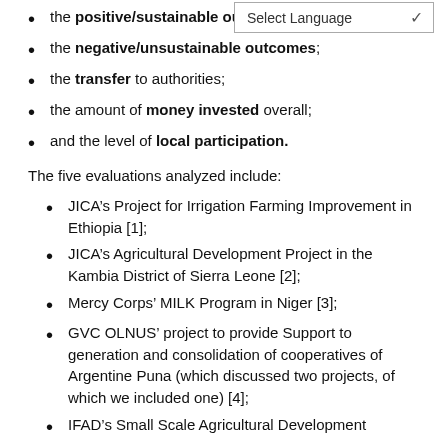the positive/sustainable o[utcomes];
the negative/unsustainable outcomes;
the transfer to authorities;
the amount of money invested overall;
and the level of local participation.
The five evaluations analyzed include:
JICA’s Project for Irrigation Farming Improvement in Ethiopia [1];
JICA’s Agricultural Development Project in the Kambia District of Sierra Leone [2];
Mercy Corps’ MILK Program in Niger [3];
GVC OLNUS’ project to provide Support to generation and consolidation of cooperatives of Argentine Puna (which discussed two projects, of which we included one) [4];
IFAD’s Small Scale Agricultural Development